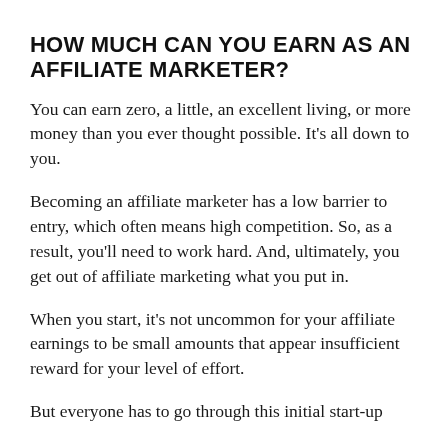HOW MUCH CAN YOU EARN AS AN AFFILIATE MARKETER?
You can earn zero, a little, an excellent living, or more money than you ever thought possible. It’s all down to you.
Becoming an affiliate marketer has a low barrier to entry, which often means high competition. So, as a result, you’ll need to work hard. And, ultimately, you get out of affiliate marketing what you put in.
When you start, it’s not uncommon for your affiliate earnings to be small amounts that appear insufficient reward for your level of effort.
But everyone has to go through this initial start-up